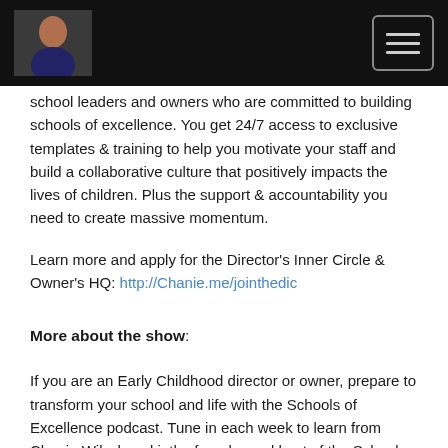[Logo and navigation menu]
school leaders and owners who are committed to building schools of excellence. You get 24/7 access to exclusive templates & training to help you motivate your staff and build a collaborative culture that positively impacts the lives of children. Plus the support & accountability you need to create massive momentum.
Learn more and apply for the Director's Inner Circle & Owner's HQ: http://Chanie.me/jointhedic
More about the show:
If you are an Early Childhood director or owner, prepare to transform your school and life with the Schools of Excellence podcast. Tune in each week to learn from Chanie Wilschanski, the founder and host of the Schools of Excellence Podcast